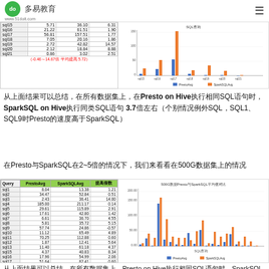多易教育 www.51doit.com
| Query | PrestoAvg | SparkSQLAvg | 提高倍数 |
| --- | --- | --- | --- |
| sql15 | 5.71 | 36.10 | 6.31 |
| sql16 | 21.22 | 61.51 | 1.90 |
| sql17 | 56.81 | 157.51 | 1.77 |
| sql18 | 7.05 | 20.16 | 1.86 |
| sql19 | 2.72 | 42.82 | 14.57 |
| sql20 | 2.12 | 18.84 | 8.88 |
| sql21 | 0.86 | 3.02 | 2.51 |
（-0.46～14.67倍 平均提高 5.72）
[Figure (grouped-bar-chart): 500G数据集Presto vs SparkSQL grouped bar chart for sql queries]
从上面结果可以总结，在所有数据集上，Presto on Hive执行相同SQL语句时，SparkSQL on Hive执行同类SQL语句 3.7倍左右（个别情况例外SQL，SQL1、SQL9时Presto的速度高于SparkSQL）
在Presto与SparkSQL在2~5倍的情况下，我们来看看在500G数据集上的情况
| Query | PrestoAvg | SparkSQLAvg | 提高倍数 |
| --- | --- | --- | --- |
| sql1 | 8.04 | 13.38 | 1.21 |
| sql2 | 34.47 | 52.84 | 0.51 |
| sql3 | 2.43 | 36.41 | 14.00 |
| sql4 | 185.00 | 211.17 | 0.14 |
| sql5 | 29.61 | 115.89 | 2.91 |
| sql6 | 17.61 | 42.80 | 1.42 |
| sql7 | 6.61 | 36.70 | 4.55 |
| sql8 | 5.81 | 35.72 | 5.15 |
| sql9 | 57.74 | 24.86 | -0.57 |
| sql10 | 11.12 | 65.49 | 4.89 |
| sql11 | 70.25 | 112.88 | 0.60 |
| sql12 | 1.87 | 12.41 | 5.64 |
| sql13 | 11.40 | 61.18 | 4.37 |
| sql15 | 4.37 | 40.83 | 8.34 |
| sql16 | 17.96 | 54.99 | 2.06 |
| sql17 | 51.64 | 82.41 | 0.60 |
| sql18 | 8.14 | 22.01 | 2.75 |
| sql19 | 2.76 | 42.11 | 14.29 |
| sql20 | 2.52 | 20.11 | 7.00 |
| sql21 | 0.70 | 2.22 | 2.19 |
（-0.57～14.29倍 平均提高 4.10倍）
[Figure (grouped-bar-chart): 500G数据集Presto与SparkSQL平均值对比 grouped bar chart]
从上面结果可以总结，在所有数据集上，Presto on Hive执行相同SQL语句时，SparkSQL on Hive